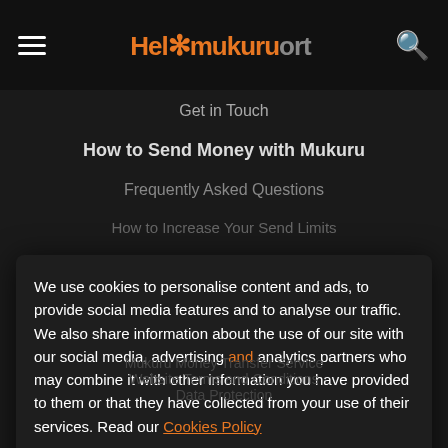Hel mukuru ort
Get in Touch
How to Send Money with Mukuru
Frequently Asked Questions
How to Increase Your Send Limits
We use cookies to personalise content and ads, to provide social media features and to analyse our traffic. We also share information about the use of our site with our social media, advertising and analytics partners who may combine it with other information you have provided to them or that they have collected from your use of their services. Read our Cookies Policy
Accept
Reject
Mukuru Money Transfer Service
Website Terms and Conditions
Data Protection
Terms and Conditions
Contact Us